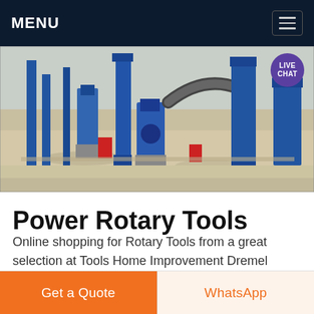MENU
[Figure (photo): Aerial view of industrial construction/mining equipment with blue machinery, conveyors, and processing units on sandy ground. LIVE CHAT bubble in top right corner.]
Power Rotary Tools
Online shopping for Rotary Tools from a great selection at Tools Home Improvement Dremel 4000-2/30 High Performance Rotary Tool Kit- 2 Attachments 30 Accessories- Grinder Sander Polisher Router and
Get a Quote
WhatsApp